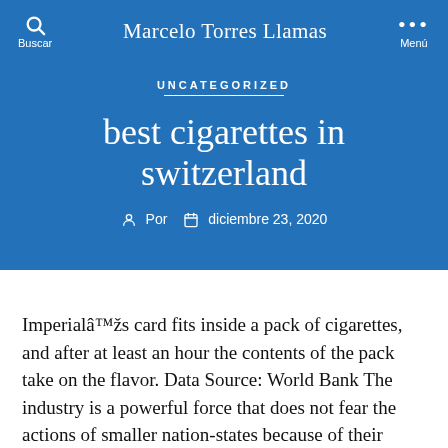Marcelo Torres Llamas
UNCATEGORIZED
best cigarettes in switzerland
Por  diciembre 23, 2020
Imperialâs card fits inside a pack of cigarettes, and after at least an hour the contents of the pack take on the flavor. Data Source: World Bank The industry is a powerful force that does not fear the actions of smaller nation-states because of their extensive resources and global